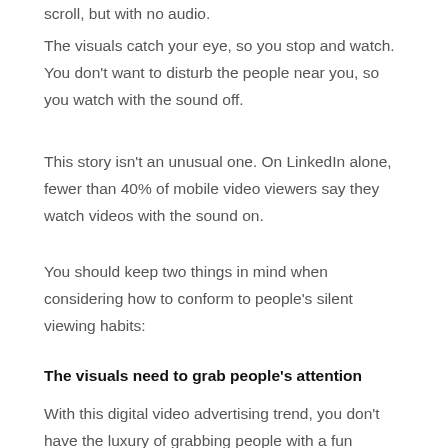scroll, but with no audio.
The visuals catch your eye, so you stop and watch. You don't want to disturb the people near you, so you watch with the sound off.
This story isn't an unusual one. On LinkedIn alone, fewer than 40% of mobile video viewers say they watch videos with the sound on.
You should keep two things in mind when considering how to conform to people's silent viewing habits:
The visuals need to grab people's attention
With this digital video advertising trend, you don't have the luxury of grabbing people with a fun